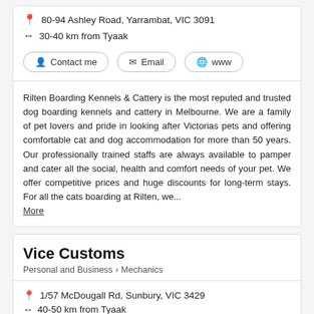80-94 Ashley Road, Yarrambat, VIC 3091
30-40 km from Tyaak
Contact me
Email
www
Rilten Boarding Kennels & Cattery is the most reputed and trusted dog boarding kennels and cattery in Melbourne. We are a family of pet lovers and pride in looking after Victorias pets and offering comfortable cat and dog accommodation for more than 50 years. Our professionally trained staffs are always available to pamper and cater all the social, health and comfort needs of your pet. We offer competitive prices and huge discounts for long-term stays. For all the cats boarding at Rilten, we... More
Vice Customs
Personal and Business > Mechanics
1/57 McDougall Rd, Sunbury, VIC 3429
40-50 km from Tyaak